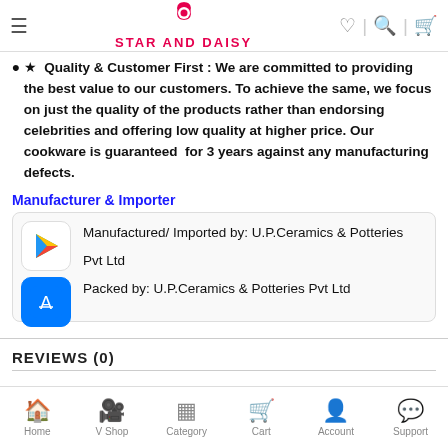StarAndDaisy
★ Quality & Customer First : We are committed to providing the best value to our customers. To achieve the same, we focus on just the quality of the products rather than endorsing celebrities and offering low quality at higher price. Our cookware is guaranteed for 3 years against any manufacturing defects.
Manufacturer & Importer
Manufactured/ Imported by: U.P.Ceramics & Potteries Pvt Ltd
Packed by: U.P.Ceramics & Potteries Pvt Ltd
REVIEWS (0)
Home | V Shop | Category | Cart | Account | Support